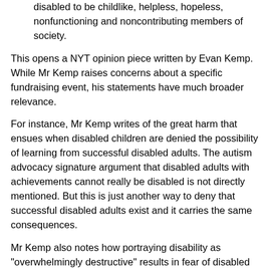disabled to be childlike, helpless, hopeless, nonfunctioning and noncontributing members of society.
This opens a NYT opinion piece written by Evan Kemp. While Mr Kemp raises concerns about a specific fundraising event, his statements have much broader relevance.
For instance, Mr Kemp writes of the great harm that ensues when disabled children are denied the possibility of learning from successful disabled adults. The autism advocacy signature argument that disabled adults with achievements cannot really be disabled is not directly mentioned. But this is just another way to deny that successful disabled adults exist and it carries the same consequences.
Mr Kemp also notes how portraying disability as "overwhelmingly destructive" results in fear of disabled people and our consequent segregation from society. Then there is the issue of research priorities, some of which have the effect of supporting: